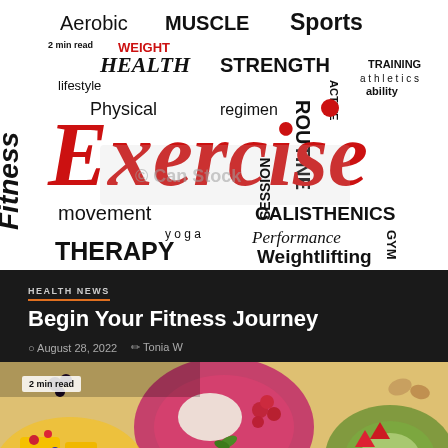[Figure (illustration): Fitness word cloud with terms like Aerobic, MUSCLE, Sports, HEALTH, STRENGTH, Exercise (large red), CALISTHENICS, Weightlifting, THERAPY, Performance, yoga, movement, Fitness, ROUTINE, TRAINING, ability, athletics, regimen, Physical, SESSION, lifestyle, WEIGHT. Red and black text on white background. Has '2 min read' badge and watermark.]
HEALTH NEWS
Begin Your Fitness Journey
August 28, 2022  Tonia W
[Figure (photo): Photo of colorful fruit and smoothie bowls from above. Shows bowls with raspberries, blueberries, kiwi, mango, dragon fruit, strawberries, and other fresh fruits. Has '2 min read' badge in top left and orange scroll-to-top button in bottom right.]